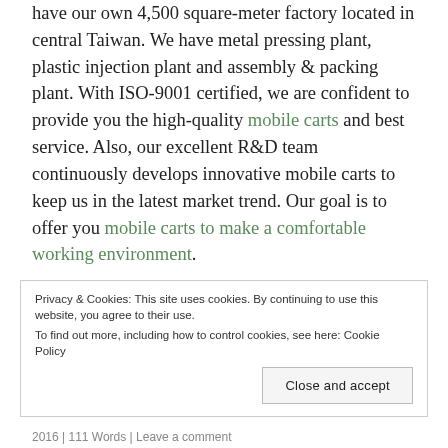have our own 4,500 square-meter factory located in central Taiwan. We have metal pressing plant, plastic injection plant and assembly & packing plant. With ISO-9001 certified, we are confident to provide you the high-quality mobile carts and best service. Also, our excellent R&D team continuously develops innovative mobile carts to keep us in the latest market trend. Our goal is to offer you mobile carts to make a comfortable working environment.
Privacy & Cookies: This site uses cookies. By continuing to use this website, you agree to their use. To find out more, including how to control cookies, see here: Cookie Policy
Close and accept
2016 | 111 Words | Leave a comment